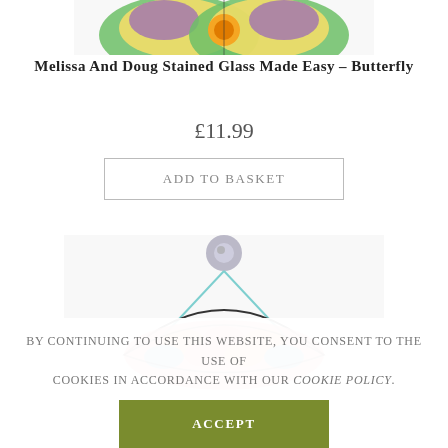[Figure (photo): Top portion of a stained glass butterfly craft kit showing colorful wing patterns with orange, yellow, green and purple colors, partially cropped at top]
Melissa And Doug Stained Glass Made Easy – Butterfly
£11.99
Add to basket
[Figure (photo): Bottom portion of stained glass butterfly kit showing the lower half with pink, peach and blue scale-like patterns hanging from a suction cup hook with teal string]
By continuing to use this website, you consent to the use of cookies in accordance with our Cookie Policy.
Accept